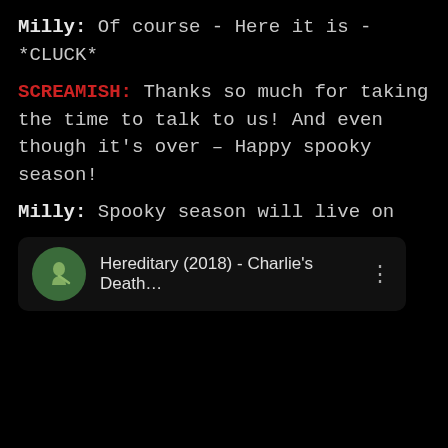Milly: Of course - Here it is - *CLUCK*
SCREAMISH: Thanks so much for taking the time to talk to us! And even though it's over – Happy spooky season!
Milly: Spooky season will live on
[Figure (other): Media card showing a circular green thumbnail with a figure silhouette, titled 'Hereditary (2018) - Charlie's Death...' with a three-dot menu icon]